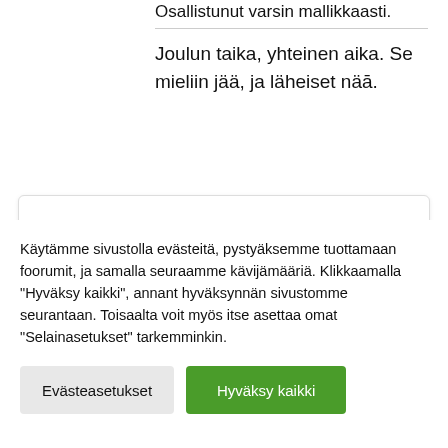Osallistunut varsin mallikkaasti.
Joulun taika, yhteinen aika. Se mieliin jää, ja läheiset näā.
[Figure (other): White card/box area with rounded corners and light border]
Käytämme sivustolla evästeitä, pystyäksemme tuottamaan foorumit, ja samalla seuraamme kävijämääriä. Klikkaamalla "Hyväksy kaikki", annant hyväksynnän sivustomme seurantaan. Toisaalta voit myös itse asettaa omat "Selainasetukset" tarkemminkin.
Evästeasetukset
Hyväksy kaikki